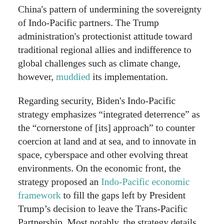China's pattern of undermining the sovereignty of Indo-Pacific partners. The Trump administration's protectionist attitude toward traditional regional allies and indifference to global challenges such as climate change, however, muddied its implementation.
Regarding security, Biden's Indo-Pacific strategy emphasizes "integrated deterrence" as the "cornerstone of [its] approach" to counter coercion at land and at sea, and to innovate in space, cyberspace and other evolving threat environments. On the economic front, the strategy proposed an Indo-Pacific economic framework to fill the gaps left by President Trump's decision to leave the Trans-Pacific Partnership. Most notably, the strategy details the administration's plan to expand and deepen regional alliances and partnerships by investing diplomatic and economic resources in the Pacific Islands and deepening relations between NATO allies and the